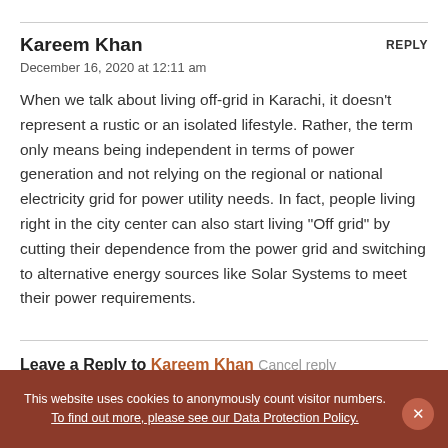Kareem Khan
REPLY
December 16, 2020 at 12:11 am
When we talk about living off-grid in Karachi, it doesn't represent a rustic or an isolated lifestyle. Rather, the term only means being independent in terms of power generation and not relying on the regional or national electricity grid for power utility needs. In fact, people living right in the city center can also start living "Off grid" by cutting their dependence from the power grid and switching to alternative energy sources like Solar Systems to meet their power requirements.
Leave a Reply to Kareem Khan Cancel reply
Please be mindful of our community standards.
This website uses cookies to anonymously count visitor numbers. To find out more, please see our Data Protection Policy.